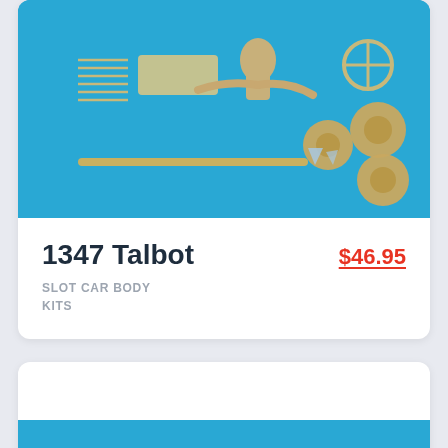[Figure (photo): Photo of resin slot car body kit parts laid out on a blue background, including body panels, wheels, a driver figure, steering wheel and other components.]
1347 Talbot
SLOT CAR BODY KITS
$46.95
[Figure (photo): Photo of resin slot car body kit parts on a blue background, featuring a long torpedo-shaped body with a driver bust figure, wheels, arms and steering wheel parts.]